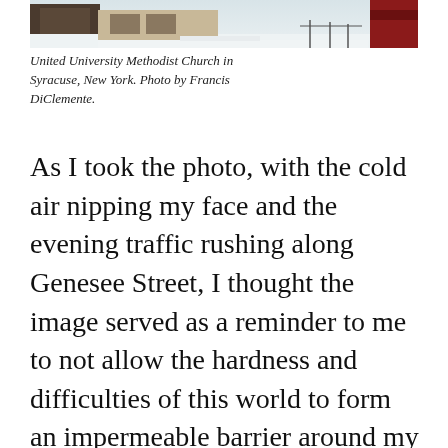[Figure (photo): Partial view of a building in winter, likely United University Methodist Church in Syracuse, New York, with snow visible.]
United University Methodist Church in Syracuse, New York. Photo by Francis DiClemente.
As I took the photo, with the cold air nipping my face and the evening traffic rushing along Genesee Street, I thought the image served as a reminder to me to not allow the hardness and difficulties of this world to form an impermeable barrier around my heart—to separate me from other people.